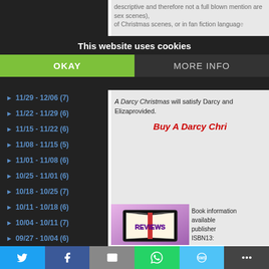descriptive and therefore not a full blown mention are sex scenes, or in fan fiction language
11/29 - 12/06 (7)
11/22 - 11/29 (6)
11/15 - 11/22 (6)
11/08 - 11/15 (5)
11/01 - 11/08 (6)
10/25 - 11/01 (6)
10/18 - 10/25 (7)
10/11 - 10/18 (6)
10/04 - 10/11 (7)
09/27 - 10/04 (6)
09/20 - 09/27 (6)
09/13 - 09/20 (6)
I read fan fiction so I'm not against it, but it is not in my collection. I'm also not against derivative works. I read the book version of Longbourn by Jo Baker and I really enjoyed stairs in the Pride and Prejudice universe. It di
A Darcy Christmas will satisfy Darcy and Eliza provided.
Buy A Darcy Chri
[Figure (illustration): Book reviews logo - an open book with 'REVIEWS' text in purple on a pink/purple gradient background]
Book info available publisher ISBN13